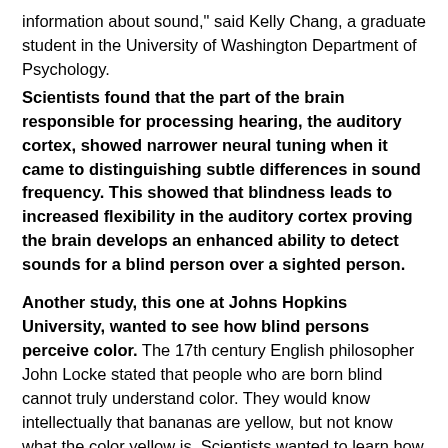information about sound," said Kelly Chang, a graduate student in the University of Washington Department of Psychology.
Scientists found that the part of the brain responsible for processing hearing, the auditory cortex, showed narrower neural tuning when it came to distinguishing subtle differences in sound frequency. This showed that blindness leads to increased flexibility in the auditory cortex proving the brain develops an enhanced ability to detect sounds for a blind person over a sighted person.
Another study, this one at Johns Hopkins University, wanted to see how blind persons perceive color. The 17th century English philosopher John Locke stated that people who are born blind cannot truly understand color. They would know intellectually that bananas are yellow, but not know what the color yellow is. Scientists wanted to learn how true this is.
A two-phase experiment was done with blind and sighted adults. They were asked about the color of